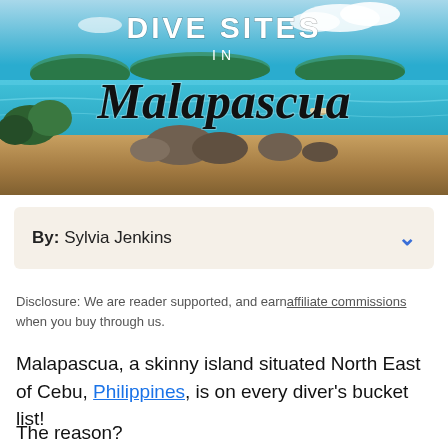[Figure (photo): Hero banner image of Malapascua island with tropical blue water, rocks, and islands in background. Text overlay reads 'DIVE SITES IN Malapascua']
By: Sylvia Jenkins
Disclosure: We are reader supported, and earn affiliate commissions when you buy through us.
Malapascua, a skinny island situated North East of Cebu, Philippines, is on every diver's bucket list!
The reason?